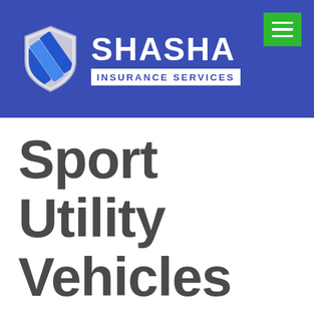[Figure (logo): Shasha Insurance Services logo with shield icon and hamburger menu button on blue header bar]
Sport Utility Vehicles Improving Rollover